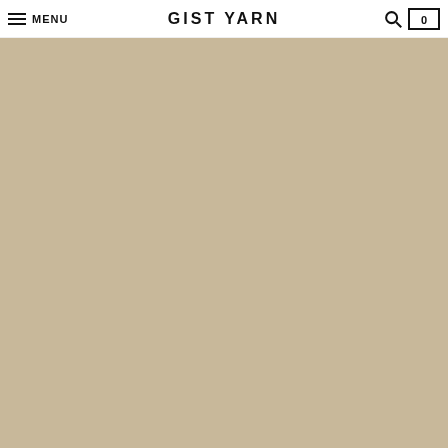MENU | GIST YARN | [search] [cart 0]
[Figure (photo): Two folded woven textile pieces/blankets with a dark navy blue and light mint/aqua plaid grid pattern, overlapping each other on a warm beige/tan background. The textile shows a distinct weave texture with vertical and horizontal thread patterns creating a checked/grid appearance.]